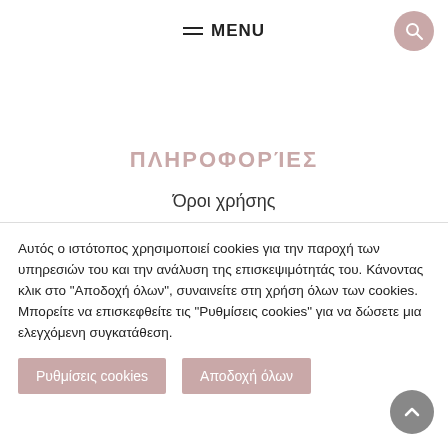MENU
ΠΛΗΡΟΦΟΡΊΕΣ
Όροι χρήσης
Αυτός ο ιστότοπος χρησιμοποιεί cookies για την παροχή των υπηρεσιών του και την ανάλυση της επισκεψιμότητάς του. Κάνοντας κλικ στο "Αποδοχή όλων", συναινείτε στη χρήση όλων των cookies. Μπορείτε να επισκεφθείτε τις "Ρυθμίσεις cookies" για να δώσετε μια ελεγχόμενη συγκατάθεση.
Ρυθμίσεις cookies
Αποδοχή όλων